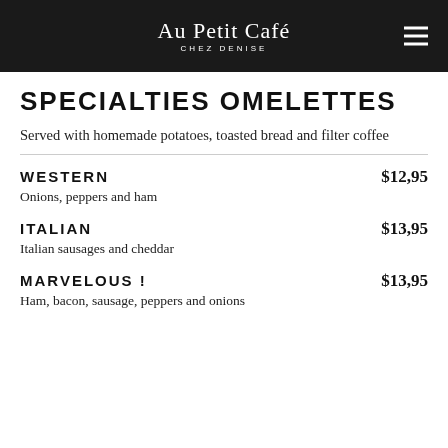Au Petit Café Chez Denise
SPECIALTIES OMELETTES
Served with homemade potatoes, toasted bread and filter coffee
WESTERN $12,95 — Onions, peppers and ham
ITALIAN $13,95 — Italian sausages and cheddar
MARVELOUS ! $13,95 — Ham, bacon, sausage, peppers and onions